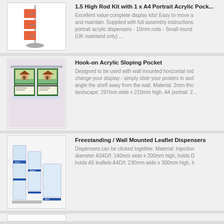[Figure (photo): Tall rod display kit with orange/red brochure inserts shown mounted vertically]
1.5 High Rod Kit with 1 x A4 Portrait Acrylic Pocket
Excellent value complete display kits! Easy to move a and maintain. Supplied with full assembly instructions. portrait acrylic dispensers - 10mm rods - Small round (UK mainland only) ...
[Figure (photo): Hook-on Acrylic Sloping Pocket with two Property Displays brochures displayed in landscape/portrait orientation]
Hook-on Acrylic Sloping Pocket
Designed to be used with wall mounted horizontal rod change your display - simply slide your posters in and angle the shelf away from the wall. Material: 2mm thic landscape: 297mm wide x 210mm high. A4 portrait: 2...
[Figure (photo): Freestanding / Wall Mounted Leaflet Dispensers shown in clear acrylic stacked configuration]
Freestanding / Wall Mounted Leaflet Dispensers
Dispensers can be clicked together. Material: Injection diameter A34D/I: 140mm wide x 200mm high, holds D holds A5 leaflets A4D/I: 230mm wide x 300mm high, h
[Figure (photo): Partial view of another product at bottom of page]